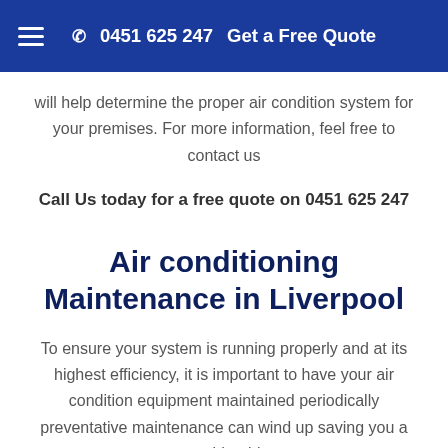0451 625 247   Get a Free Quote
will help determine the proper air condition system for your premises. For more information, feel free to contact us
Call Us today for a free quote on 0451 625 247
Air conditioning Maintenance in Liverpool
To ensure your system is running properly and at its highest efficiency, it is important to have your air condition equipment maintained periodically preventative maintenance can wind up saving you a considerable